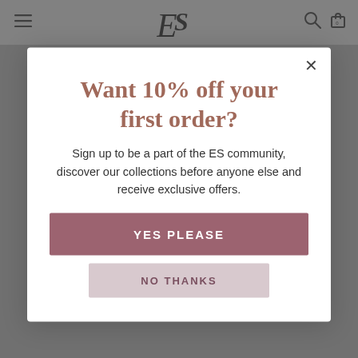ES (logo/navigation bar)
Want 10% off your first order?
Sign up to be a part of the ES community, discover our collections before anyone else and receive exclusive offers.
YES PLEASE
NO THANKS